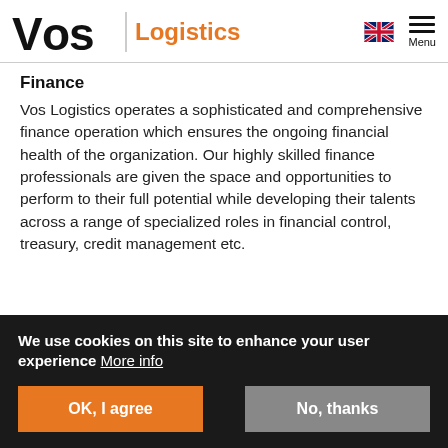Vos Logistics
Finance
Vos Logistics operates a sophisticated and comprehensive finance operation which ensures the ongoing financial health of the organization. Our highly skilled finance professionals are given the space and opportunities to perform to their full potential while developing their talents across a range of specialized roles in financial control, treasury, credit management etc.
We use cookies on this site to enhance your user experience More info
OK, I agree
No, thanks